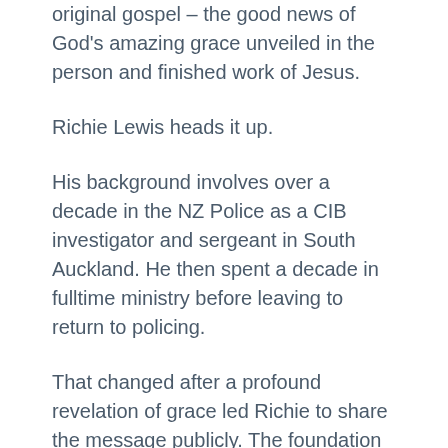original gospel – the good news of God's amazing grace unveiled in the person and finished work of Jesus.
Richie Lewis heads it up.
His background involves over a decade in the NZ Police as a CIB investigator and sergeant in South Auckland. He then spent a decade in fulltime ministry before leaving to return to policing.
That changed after a profound revelation of grace led Richie to share the message publicly. The foundation text...
For I decided to know nothing among you except Jesus Christ and him crucified. (1 Cor. 2:2).